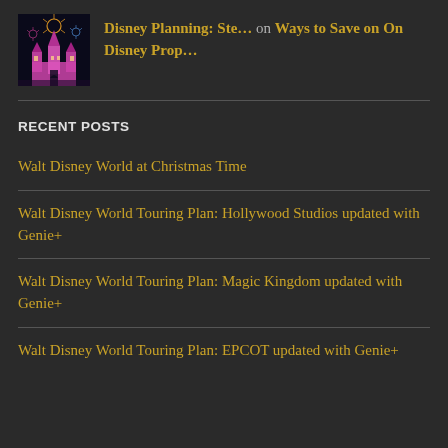[Figure (photo): Thumbnail image of Disney castle with fireworks at night]
Disney Planning: Ste… on Ways to Save on On Disney Prop…
RECENT POSTS
Walt Disney World at Christmas Time
Walt Disney World Touring Plan: Hollywood Studios updated with Genie+
Walt Disney World Touring Plan: Magic Kingdom updated with Genie+
Walt Disney World Touring Plan: EPCOT updated with Genie+